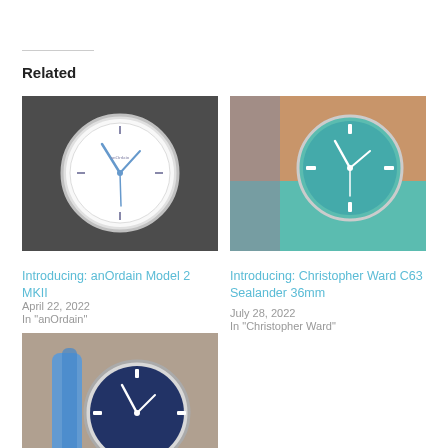Related
[Figure (photo): Photo of anOrdain Model 2 MKII watch with white dial and blue hands on black leather strap]
Introducing: anOrdain Model 2 MKII
April 22, 2022
In "anOrdain"
[Figure (photo): Photo of Christopher Ward C63 Sealander 36mm watch with teal dial on teal rubber strap worn on wrist]
Introducing: Christopher Ward C63 Sealander 36mm
July 28, 2022
In "Christopher Ward"
[Figure (photo): Photo of a watch with blue dial on leather strap worn on wrist with blue rope bracelet]